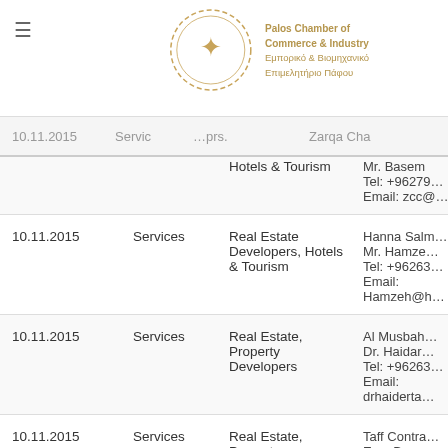Palos Chamber of Commerce & Industry | Εμπορικό & Βιομηχανικό Επιμελητήριο Πάφου
| Date | Type | Sector | Contact |
| --- | --- | --- | --- |
| 10.11.2015 | Services | Hotels & Tourism | Zarqa Cha...
Mr. Basem
Tel: +96279...
Email: zcc@... |
| 10.11.2015 | Services | Real Estate Developers, Hotels & Tourism | Hanna Salm...
Mr. Hamze...
Tel: +96263...
Email:
Hamzeh@h... |
| 10.11.2015 | Services | Real Estate, Property Developers | Al Musbah...
Dr. Haidar...
Tel: +96263...
Email:
drhaiderta... |
| 10.11.2015 | Services | Real Estate, Property Developers | Taff Contra...
Eng. Basem...
Tel:+96279...
Email:
babutaleb@... |